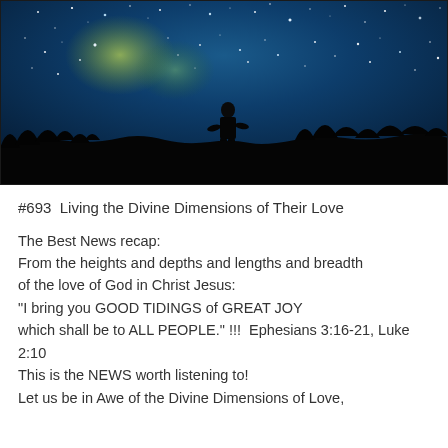[Figure (photo): Night sky photo with stars and a silhouette of a person standing on a hill or ridge with dark treeline in the background. The sky is deep blue with bright stars scattered throughout.]
#693  Living the Divine Dimensions of Their Love
The Best News recap:
From the heights and depths and lengths and breadth of the love of God in Christ Jesus:
"I bring you GOOD TIDINGS of GREAT JOY which shall be to ALL PEOPLE." !!!  Ephesians 3:16-21, Luke 2:10
This is the NEWS worth listening to!
Let us be in Awe of the Divine Dimensions of Love,